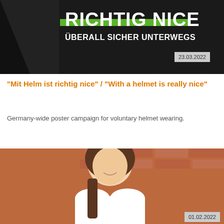[Figure (photo): Campaign poster with dark background showing 'RICHTIG NICE' in large white text and 'ÜBERALL SICHER UNTERWEGS' below it, with a green graphic element, and a date badge showing 23.03.2022]
"Mit Helm ist richtig nice" / "With a helmet is really nice"
Germany-wide poster campaign for voluntary helmet wearing.
[Figure (photo): Portrait photo of a smiling young woman with long brown hair wearing a white t-shirt, leaning against a brick wall, with a date badge showing 01.02.2022]